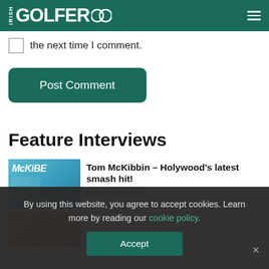IRISH GOLFER
the next time I comment.
Post Comment
Feature Interviews
[Figure (photo): Tom McKibbin golf photo with McKiBBE Hollywood sign background in teal/blue tones]
Tom McKibbin – Holywood's latest smash hit!
Feature Interviews
[Figure (photo): Second article thumbnail in orange/warm tones]
By using this website, you agree to accept cookies. Learn more by reading our cookie policy.
Accept